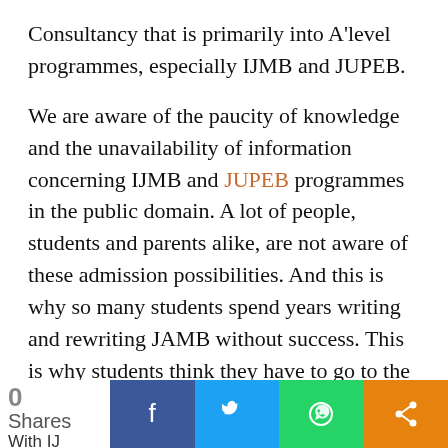Consultancy that is primarily into A'level programmes, especially IJMB and JUPEB.
We are aware of the paucity of knowledge and the unavailability of information concerning IJMB and JUPEB programmes in the public domain. A lot of people, students and parents alike, are not aware of these admission possibilities. And this is why so many students spend years writing and rewriting JAMB without success. This is why students think they have to go to the Polytechnic for ND before they can qualify for Direct Entry Admission. But this is not so!
0 Shares  [Facebook] [Twitter] [WhatsApp] [Share]  With IJ...